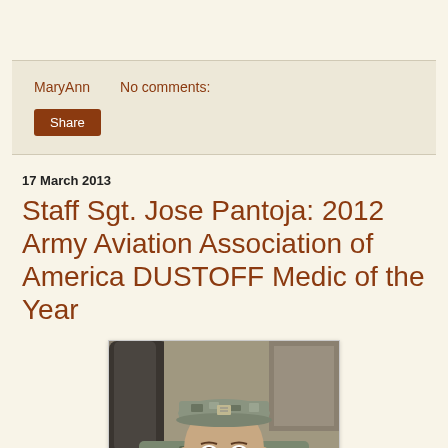MaryAnn   No comments:
Share
17 March 2013
Staff Sgt. Jose Pantoja: 2012 Army Aviation Association of America DUSTOFF Medic of the Year
[Figure (photo): Portrait photo of Staff Sgt. Jose Pantoja in military camouflage uniform and hat, looking at the camera]